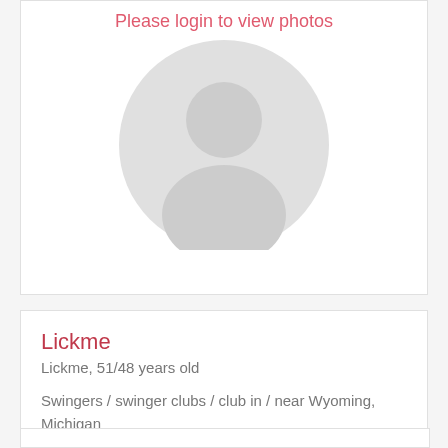[Figure (photo): Placeholder profile photo card with 'Please login to view photos' text and a grey silhouette avatar icon]
Lickme
Lickme, 51/48 years old
Swingers / swinger clubs / club in / near Wyoming, Michigan